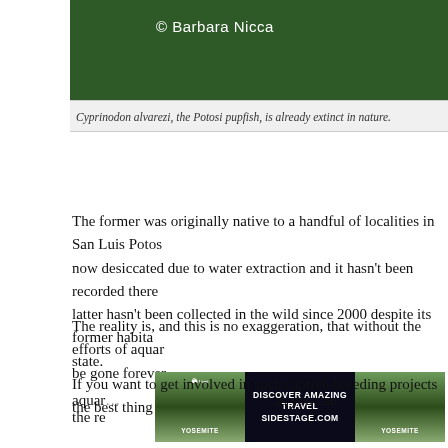[Figure (photo): Dark green nature photo background with copyright text '© Barbara Nicca' in white]
Cyprinodon alvarezi, the Potosi pupfish, is already extinct in nature.
The former was originally native to a handful of localities in San Luis Potosi, now desiccated due to water extraction and it hasn't been recorded there. The latter hasn't been collected in the wild since 2000 despite its former habitat's state.
The reality is, and this is no exaggeration, that without the efforts of aquarists, be gone forever.
If you want to get involved in such captive-breeding projects the best thing aquarists as you can the re
[Figure (photo): Advertisement banner: Discover Amazing Travel Sidestage.com with mountain landscape images on both sides]